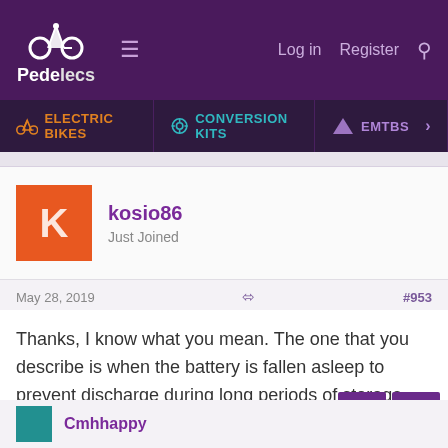Pedelecs — Log in  Register
ELECTRIC BIKES  CONVERSION KITS  EMTBS
[Figure (screenshot): User avatar: orange square with white letter K for user kosio86]
kosio86
Just Joined
May 28, 2019  #953
Thanks, I know what you mean. The one that you describe is when the battery is fallen asleep to prevent discharge during long periods of storage. My case is not the same, unfortunately. I woke the battery up first (I always do before ride so I can check the charge level) and then placed it on the bike.
Cmhhappy